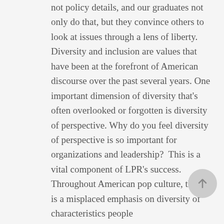not policy details, and our graduates not only do that, but they convince others to look at issues through a lens of liberty. Diversity and inclusion are values that have been at the forefront of American discourse over the past several years. One important dimension of diversity that's often overlooked or forgotten is diversity of perspective. Why do you feel diversity of perspective is so important for organizations and leadership?  This is a vital component of LPR's success. Throughout American pop culture, there is a misplaced emphasis on diversity of characteristics people